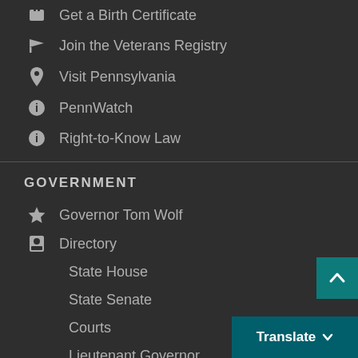Get a Birth Certificate
Join the Veterans Registry
Visit Pennsylvania
PennWatch
Right-to-Know Law
GOVERNMENT
Governor Tom Wolf
Directory
State House
State Senate
Courts
Lieutenant Governor
Attorney General
Auditor General
Treasurer